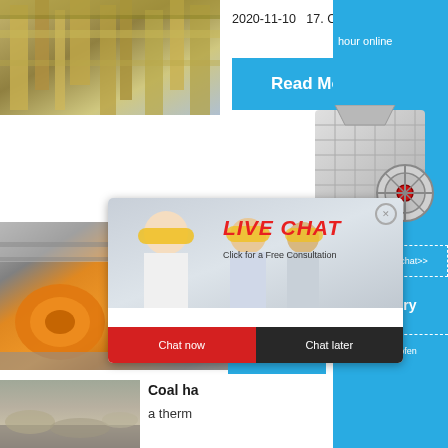[Figure (photo): Industrial facility with pipes and equipment, top-left]
2020-11-10   17. Clinker in…
Read More
[Figure (photo): Factory floor with yellow/orange crusher machinery]
[Figure (photo): Live chat popup with workers wearing yellow hard hats; woman in foreground smiling]
LIVE CHAT
Click for a Free Consultation
Chat now
Chat later
hour online
[Figure (photo): Industrial crusher/jaw crusher machine in right panel]
Click me to chat>>
Read
Enquiry
limingjlmofen
[Figure (photo): Outdoor mining or quarry scene, bottom left]
Coal ha
a therm